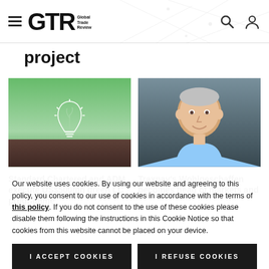GTR Global Trade Review
project
[Figure (photo): Lightbulb with a plant growing inside on soil background, green nature]
[Figure (photo): Smiling middle-aged man in light blue shirt, professional headshot]
Standard Chartered and ADM execute US$500mn green LC programme
Traxpay's Wohlgeschaffen becomes head of markets and
Our website uses cookies. By using our website and agreeing to this policy, you consent to our use of cookies in accordance with the terms of this policy. If you do not consent to the use of these cookies please disable them following the instructions in this Cookie Notice so that cookies from this website cannot be placed on your device.
I ACCEPT COOKIES
I REFUSE COOKIES